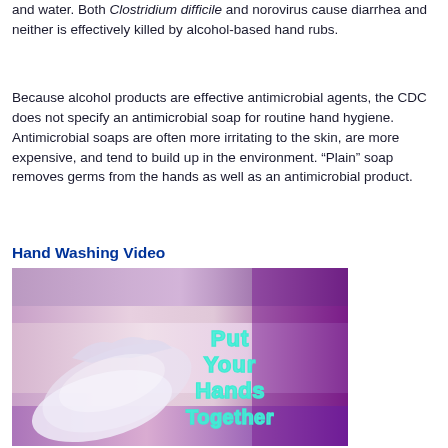and water. Both Clostridium difficile and norovirus cause diarrhea and neither is effectively killed by alcohol-based hand rubs.
Because alcohol products are effective antimicrobial agents, the CDC does not specify an antimicrobial soap for routine hand hygiene. Antimicrobial soaps are often more irritating to the skin, are more expensive, and tend to build up in the environment. “Plain” soap removes germs from the hands as well as an antimicrobial product.
Hand Washing Video
[Figure (photo): Video thumbnail showing two hands being washed together against a purple and pink blurred background, with teal outlined text reading 'Put Your Hands Together']